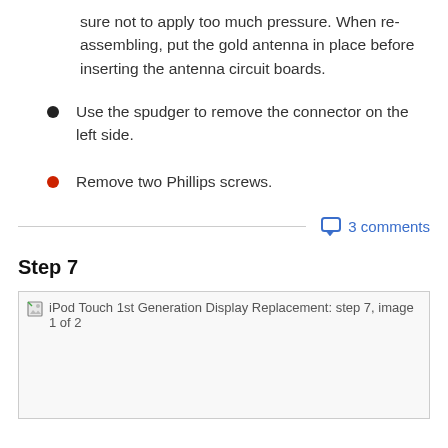sure not to apply too much pressure. When re-assembling, put the gold antenna in place before inserting the antenna circuit boards.
Use the spudger to remove the connector on the left side.
Remove two Phillips screws.
3 comments
Step 7
[Figure (photo): iPod Touch 1st Generation Display Replacement: step 7, image 1 of 2]